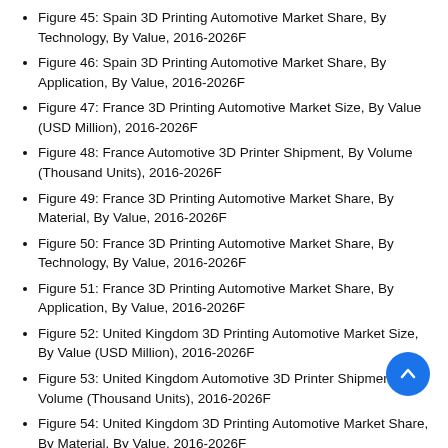Figure 45: Spain 3D Printing Automotive Market Share, By Technology, By Value, 2016-2026F
Figure 46: Spain 3D Printing Automotive Market Share, By Application, By Value, 2016-2026F
Figure 47: France 3D Printing Automotive Market Size, By Value (USD Million), 2016-2026F
Figure 48: France Automotive 3D Printer Shipment, By Volume (Thousand Units), 2016-2026F
Figure 49: France 3D Printing Automotive Market Share, By Material, By Value, 2016-2026F
Figure 50: France 3D Printing Automotive Market Share, By Technology, By Value, 2016-2026F
Figure 51: France 3D Printing Automotive Market Share, By Application, By Value, 2016-2026F
Figure 52: United Kingdom 3D Printing Automotive Market Size, By Value (USD Million), 2016-2026F
Figure 53: United Kingdom Automotive 3D Printer Shipment, By Volume (Thousand Units), 2016-2026F
Figure 54: United Kingdom 3D Printing Automotive Market Share, By Material, By Value, 2016-2026F